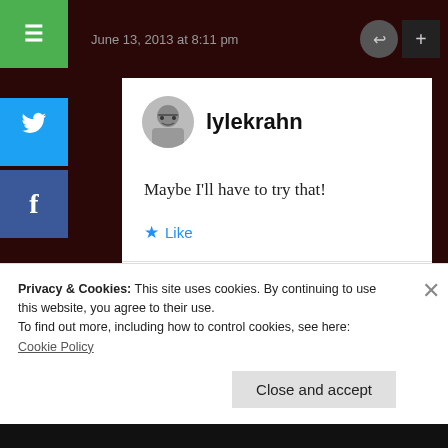June 13, 2013 at 8:11 pm
lylekrahn
Maybe I'll have to try that!
Like
June 13, 2013 at 9:36 pm
Privacy & Cookies: This site uses cookies. By continuing to use this website, you agree to their use.
To find out more, including how to control cookies, see here:
Cookie Policy
Close and accept